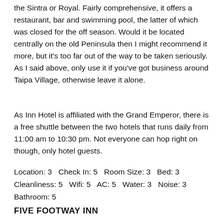the Sintra or Royal.  Fairly comprehensive, it offers a restaurant, bar and swimming pool, the latter of which was closed for the off season.  Would it be located centrally on the old Peninsula then I might recommend it more, but it's too far out of the way to be taken seriously.  As I said above, only use it if you've got business around Taipa Village, otherwise leave it alone.
As Inn Hotel is affiliated with the Grand Emperor, there is a free shuttle between the two hotels that runs daily from 11:00 am to 10:30 pm.  Not everyone can hop right on though, only hotel guests.
Location: 3   Check In: 5   Room Size: 3   Bed: 3 Cleanliness: 5   Wifi: 5   AC: 5   Water: 3   Noise: 3 Bathroom: 5
FIVE FOOTWAY INN